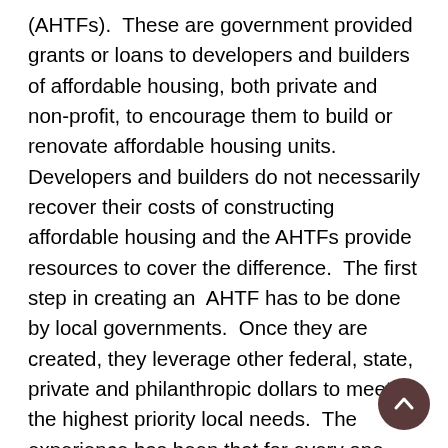(AHTFs).  These are government provided grants or loans to developers and builders of affordable housing, both private and non-profit, to encourage them to build or renovate affordable housing units.  Developers and builders do not necessarily recover their costs of constructing affordable housing and the AHTFs provide resources to cover the difference.  The first step in creating an  AHTF has to be done by local governments.  Once they are created, they leverage other federal, state, private and philanthropic dollars to meet the highest priority local needs.  The experience has been that for every one dollar a locality invests in an AHTF, $8.50 is leveraged back to the local government.  For example, by investing $5 million annually in an Albemarle County AHFT (the amount being proposed for the county where Charlottesville is), the